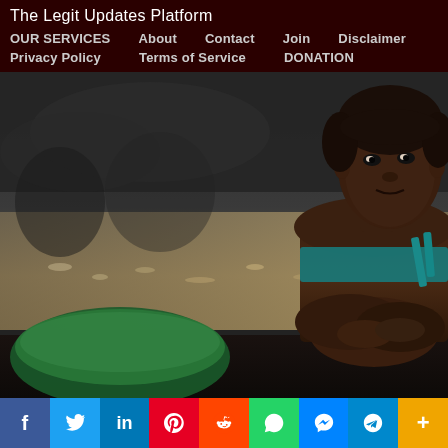The Legit Updates Platform
OUR SERVICES   About   Contact   Join   Disclaimer
Privacy Policy   Terms of Service   DONATION
[Figure (photo): A young African woman sitting in a wooden boat on a river, wearing a teal strapless top, looking directly at the camera. A green basin is visible in the lower left. The image is partially desaturated with the woman in color and the background mostly greyscale.]
f  t  in  p  reddit  whatsapp  messenger  telegram  more